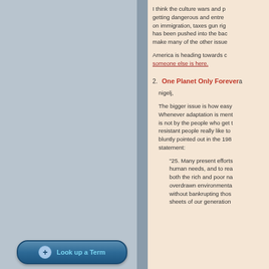I think the culture wars and p... getting dangerous and entre... on immigration, taxes gun rig... has been pushed into the bac... make many of the other issue...
America is heading towards c... someone else is here.
2. One Planet Only Forever a...
nigelj,
The bigger issue is how easy ... Whenever adaptation is ment... is not by the people who get t... resistant people really like to ... bluntly pointed out in the 198... statement:
"25. Many present efforts... human needs, and to rea... both the rich and poor na... overdrawn environmental... without bankrupting thos... sheets of our generation...